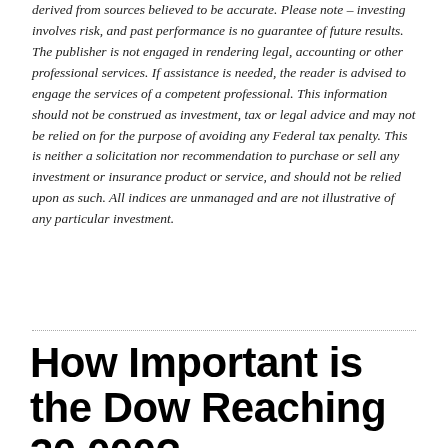derived from sources believed to be accurate. Please note – investing involves risk, and past performance is no guarantee of future results. The publisher is not engaged in rendering legal, accounting or other professional services. If assistance is needed, the reader is advised to engage the services of a competent professional. This information should not be construed as investment, tax or legal advice and may not be relied on for the purpose of avoiding any Federal tax penalty. This is neither a solicitation nor recommendation to purchase or sell any investment or insurance product or service, and should not be relied upon as such. All indices are unmanaged and are not illustrative of any particular investment.
How Important is the Dow Reaching 30,000?